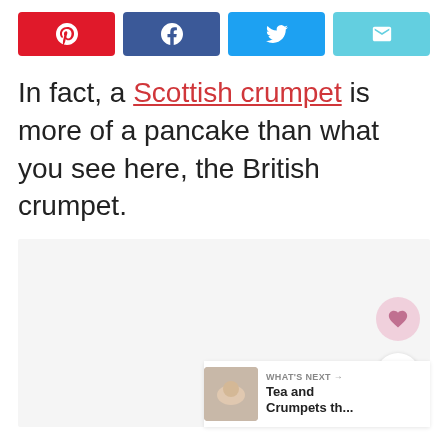[Figure (infographic): Social sharing buttons: Pinterest (red), Facebook (dark blue), Twitter (blue), Email (light blue)]
In fact, a Scottish crumpet is more of a pancake than what you see here, the British crumpet.
[Figure (photo): Light gray placeholder image area with heart (favorite) and share buttons on the right side, and a 'What's Next: Tea and Crumpets th...' card in the bottom right corner.]